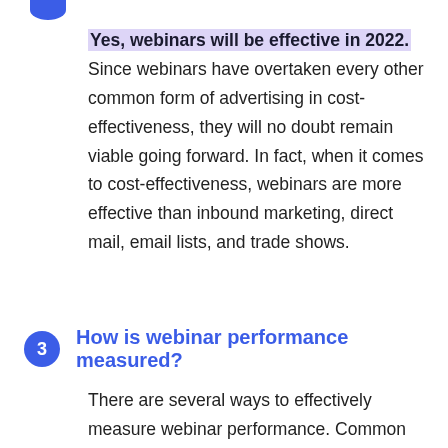Yes, webinars will be effective in 2022. Since webinars have overtaken every other common form of advertising in cost-effectiveness, they will no doubt remain viable going forward. In fact, when it comes to cost-effectiveness, webinars are more effective than inbound marketing, direct mail, email lists, and trade shows.
How is webinar performance measured?
There are several ways to effectively measure webinar performance. Common metrics include